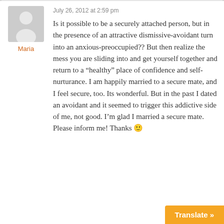July 26, 2012 at 2:59 pm
Maria
Is it possible to be a securely attached person, but in the presence of an attractive dismissive-avoidant turn into an anxious-preoccupied?? But then realize the mess you are sliding into and get yourself together and return to a “healthy” place of confidence and self-nurturance. I am happily married to a secure mate, and I feel secure, too. Its wonderful. But in the past I dated an avoidant and it seemed to trigger this addictive side of me, not good. I’m glad I married a secure mate. Please inform me! Thanks 🙂
Translate »